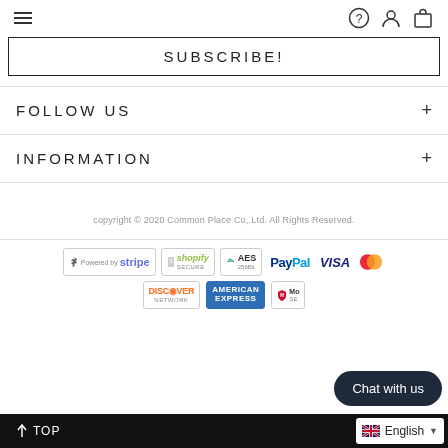Navigation bar with hamburger menu and icons
SUBSCRIBE!
FOLLOW US
INFORMATION
copyright © 2020 Common Place Co,.Ltd. All Rights Reserved.
[Figure (logo): Payment provider logos: Stripe, Shopify Secure, AES 256Bit, PayPal, VISA, Mastercard, Discover Network, American Express, McAfee Secure]
Chat with us
TOP  English